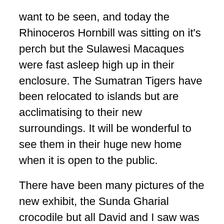want to be seen, and today the Rhinoceros Hornbill was sitting on it's perch but the Sulawesi Macaques were fast asleep high up in their enclosure. The Sumatran Tigers have been relocated to islands but are acclimatising to their new surroundings. It will be wonderful to see them in their huge new home when it is open to the public.
There have been many pictures of the new exhibit, the Sunda Gharial crocodile but all David and I saw was the head of the animal, it's huge body and tail was submerged under water!
We spent a good hour in Islands, this our second visit. It is an exhibit that can be visited again and again and something new would be witnessed each time. The new venture for Chester Zoo can only go from strength to strength. Also with this new land being available it is